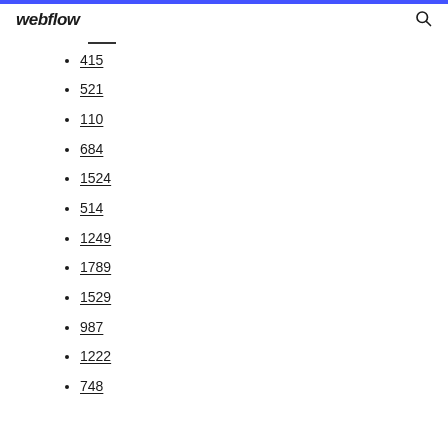webflow
415
521
110
684
1524
514
1249
1789
1529
987
1222
748